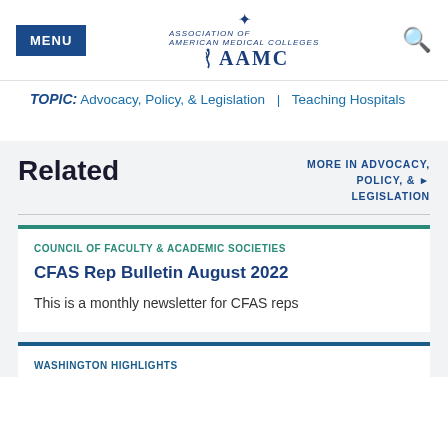MENU | AAMC | [search icon]
TOPIC: Advocacy, Policy, & Legislation | Teaching Hospitals
Related
MORE IN ADVOCACY, POLICY, & LEGISLATION ▶
COUNCIL OF FACULTY & ACADEMIC SOCIETIES
CFAS Rep Bulletin August 2022
This is a monthly newsletter for CFAS reps
WASHINGTON HIGHLIGHTS